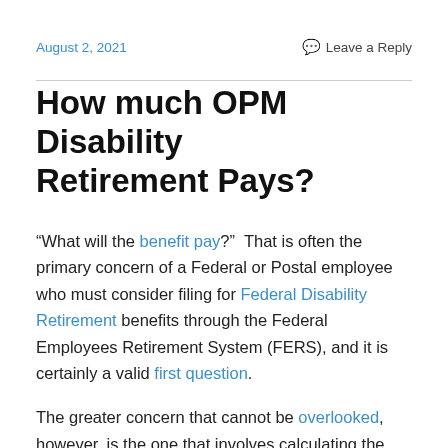August 2, 2021    Leave a Reply
How much OPM Disability Retirement Pays?
“What will the benefit pay?”  That is often the primary concern of a Federal or Postal employee who must consider filing for Federal Disability Retirement benefits through the Federal Employees Retirement System (FERS), and it is certainly a valid first question.
The greater concern that cannot be overlooked, however, is the one that involves calculating the cost of NOT filing.